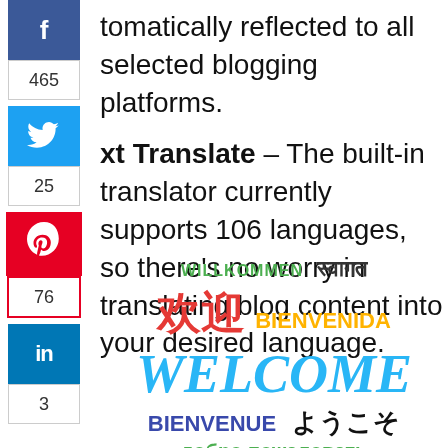tomatically reflected to all selected blogging platforms.
xt Translate – The built-in translator currently supports 106 languages, so there's no worry in translating blog content into your desired language.
[Figure (illustration): Multilingual welcome word cloud with WELCOME in large cyan italic text, surrounded by WILLKOMMEN (green), 欢迎 (red Chinese), स्वागत (Hindi), BIENVENIDA (yellow), BIENVENUE (dark blue), ようこそ (black Japanese), добро пожаловать (green Russian)]